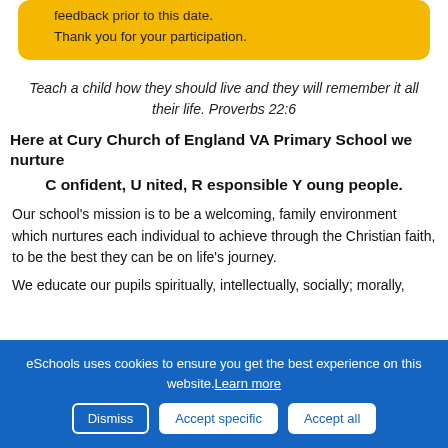feedback prior to this date.
Thank you for your participation.
Teach a child how they should live and they will remember it all their life. Proverbs 22:6
Here at Cury Church of England VA Primary School we nurture
C onfident, U nited, R esponsible Y oung people.
Our school's mission is to be a welcoming, family environment which nurtures each individual to achieve through the Christian faith, to be the best they can be on life's journey.
We educate our pupils spiritually, intellectually, socially; morally,
eSchools uses cookies to ensure you get the best experience on this website. Learn more
Dismiss   Accept specific   Accept all